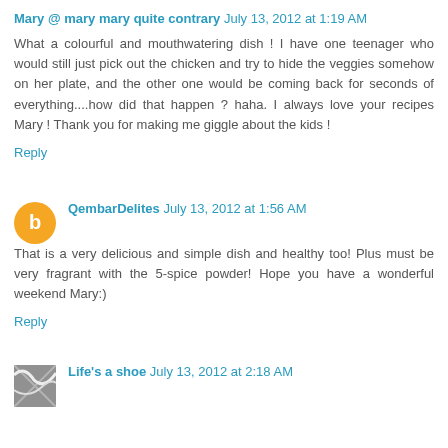Mary @ mary mary quite contrary July 13, 2012 at 1:19 AM
What a colourful and mouthwatering dish ! I have one teenager who would still just pick out the chicken and try to hide the veggies somehow on her plate, and the other one would be coming back for seconds of everything....how did that happen ? haha. I always love your recipes Mary ! Thank you for making me giggle about the kids !
Reply
QembarDelites July 13, 2012 at 1:56 AM
That is a very delicious and simple dish and healthy too! Plus must be very fragrant with the 5-spice powder! Hope you have a wonderful weekend Mary:)
Reply
Life's a shoe July 13, 2012 at 2:18 AM